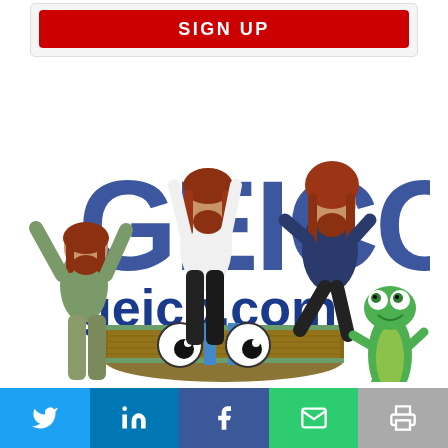[Figure (screenshot): Red SIGN UP button at top of page inside a light gray card/box]
[Figure (photo): GEICO advertisement image showing three men with long red hair jumping/celebrating in front of GEICO logo and geico.com text, with the GEICO gecko mascot on the right side and a stack of dollar bills with googly eyes in the center foreground]
“People can now accept more complex brands with
[Figure (screenshot): Social sharing bar with Twitter, LinkedIn, Facebook, email, and print icons]